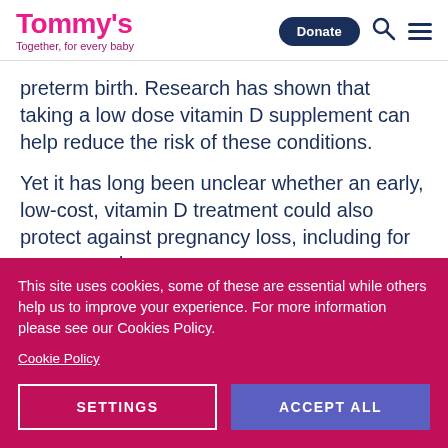Tommy's — Together, for every baby
preterm birth. Research has shown that taking a low dose vitamin D supplement can help reduce the risk of these conditions.
Yet it has long been unclear whether an early, low-cost, vitamin D treatment could also protect against pregnancy loss, including for women and
This site uses cookies, some of these are essential while others help us to improve your experience. For more information please see our Cookies Policy.
Cookie Policy
SETTINGS
ACCEPT ALL